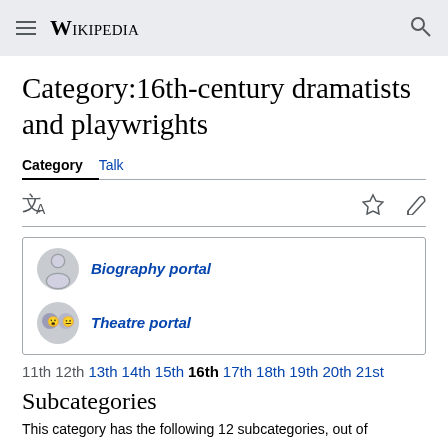Wikipedia
Category:16th-century dramatists and playwrights
Category  Talk
[Figure (infographic): Biography portal and Theatre portal links with icons]
11th 12th 13th 14th 15th 16th 17th 18th 19th 20th 21st
Subcategories
This category has the following 12 subcategories, out of 12 total.